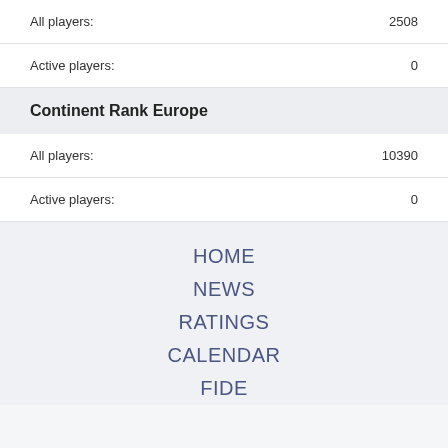All players: 2508
Active players: 0
Continent Rank Europe
All players: 10390
Active players: 0
HOME
NEWS
RATINGS
CALENDAR
FIDE